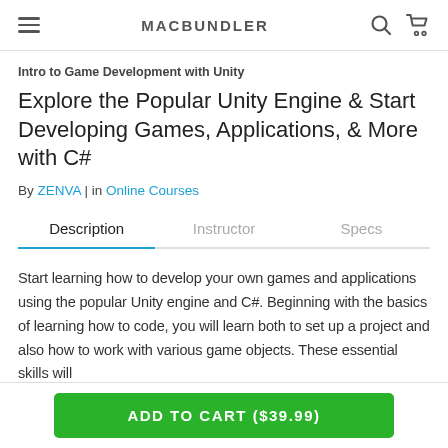MACBUNDLER
Intro to Game Development with Unity
Explore the Popular Unity Engine & Start Developing Games, Applications, & More with C#
By ZENVA | in Online Courses
Description | Instructor | Specs
Start learning how to develop your own games and applications using the popular Unity engine and C#. Beginning with the basics of learning how to code, you will learn both to set up a project and also how to work with various game objects. These essential skills will
ADD TO CART ($39.99)